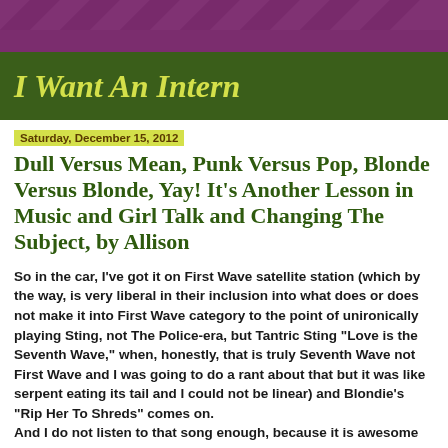I Want An Intern
Saturday, December 15, 2012
Dull Versus Mean, Punk Versus Pop, Blonde Versus Blonde, Yay! It's Another Lesson in Music and Girl Talk and Changing The Subject, by Allison
So in the car, I've got it on First Wave satellite station (which by the way, is very liberal in their inclusion into what does or does not make it into First Wave category to the point of unironically playing Sting, not The Police-era, but Tantric Sting "Love is the Seventh Wave," when, honestly, that is truly Seventh Wave not First Wave and I was going to do a rant about that but it was like serpent eating its tail and I could not be linear) and Blondie's "Rip Her To Shreds" comes on.
And I do not listen to that song enough, because it is awesome and I am a huge fan of early Blondie, Debbie Harry is and always will be...